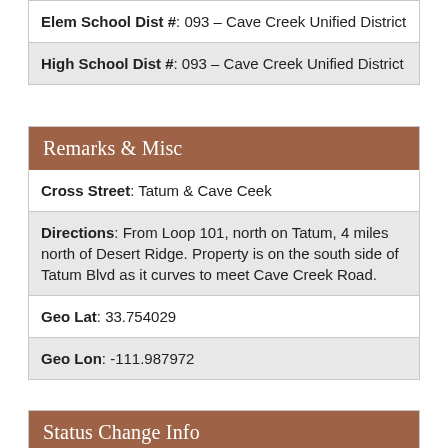| Elem School Dist #: 093 – Cave Creek Unified District |
| High School Dist #: 093 – Cave Creek Unified District |
Remarks & Misc
| Cross Street: Tatum & Cave Ceek |
| Directions: From Loop 101, north on Tatum, 4 miles north of Desert Ridge. Property is on the south side of Tatum Blvd as it curves to meet Cave Creek Road. |
| Geo Lat: 33.754029 |
| Geo Lon: -111.987972 |
Status Change Info